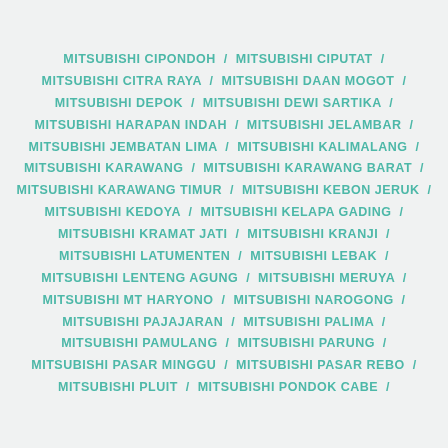MITSUBISHI CIPONDOH / MITSUBISHI CIPUTAT / MITSUBISHI CITRA RAYA / MITSUBISHI DAAN MOGOT / MITSUBISHI DEPOK / MITSUBISHI DEWI SARTIKA / MITSUBISHI HARAPAN INDAH / MITSUBISHI JELAMBAR / MITSUBISHI JEMBATAN LIMA / MITSUBISHI KALIMALANG / MITSUBISHI KARAWANG / MITSUBISHI KARAWANG BARAT / MITSUBISHI KARAWANG TIMUR / MITSUBISHI KEBON JERUK / MITSUBISHI KEDOYA / MITSUBISHI KELAPA GADING / MITSUBISHI KRAMAT JATI / MITSUBISHI KRANJI / MITSUBISHI LATUMENTEN / MITSUBISHI LEBAK / MITSUBISHI LENTENG AGUNG / MITSUBISHI MERUYA / MITSUBISHI MT HARYONO / MITSUBISHI NAROGONG / MITSUBISHI PAJAJARAN / MITSUBISHI PALIMA / MITSUBISHI PAMULANG / MITSUBISHI PARUNG / MITSUBISHI PASAR MINGGU / MITSUBISHI PASAR REBO / MITSUBISHI PLUIT / MITSUBISHI PONDOK CABE /